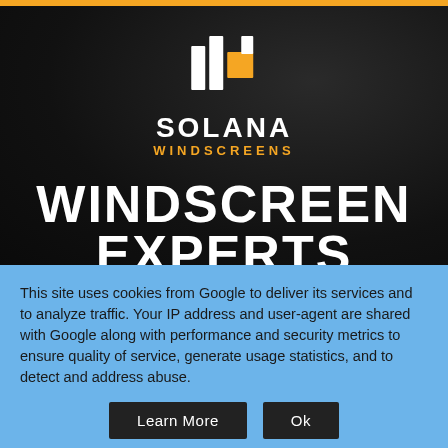[Figure (logo): Solana Windscreens logo with stylized geometric window/panel icon in white and orange above the text SOLANA in white bold capitals and WINDSCREENS in orange bold capitals]
WINDSCREEN EXPERTS
This site uses cookies from Google to deliver its services and to analyze traffic. Your IP address and user-agent are shared with Google along with performance and security metrics to ensure quality of service, generate usage statistics, and to detect and address abuse.
Learn More  Ok